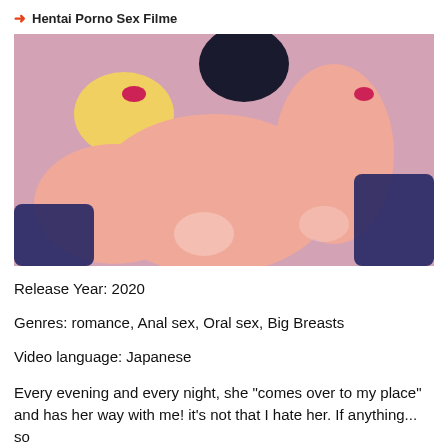→ Hentai Porno Sex Filme
[Figure (illustration): Anime/hentai illustration showing animated characters in an explicit scene]
Release Year: 2020
Genres: romance, Anal sex, Oral sex, Big Breasts
Video language: Japanese
Every evening and every night, she "comes over to my place" and has her way with me! it's not that I hate her. If anything... so